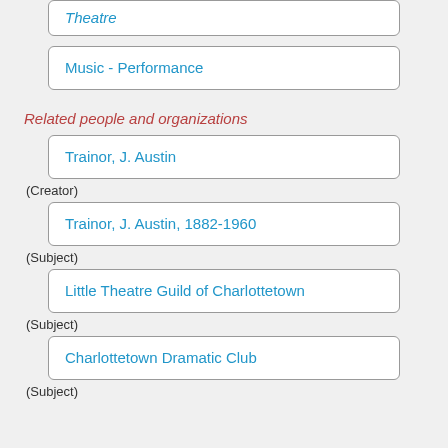Theatre
Music - Performance
Related people and organizations
Trainor, J. Austin
(Creator)
Trainor, J. Austin, 1882-1960
(Subject)
Little Theatre Guild of Charlottetown
(Subject)
Charlottetown Dramatic Club
(Subject)